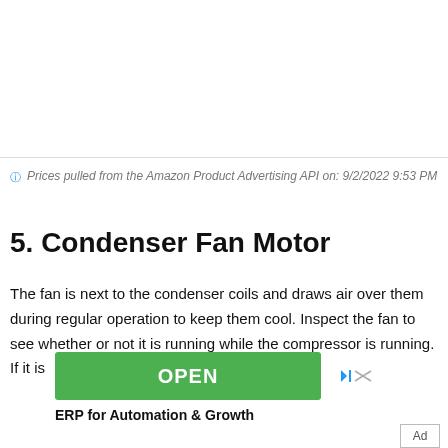[Figure (other): White/blank image area at top of page (product image area)]
Prices pulled from the Amazon Product Advertising API on: 9/2/2022 9:53 PM
5. Condenser Fan Motor
The fan is next to the condenser coils and draws air over them during regular operation to keep them cool. Inspect the fan to see whether or not it is running while the compressor is running. If it is
[Figure (other): Advertisement banner with green OPEN button and text 'ERP for Automation & Growth']
ERP for Automation & Growth
Ad